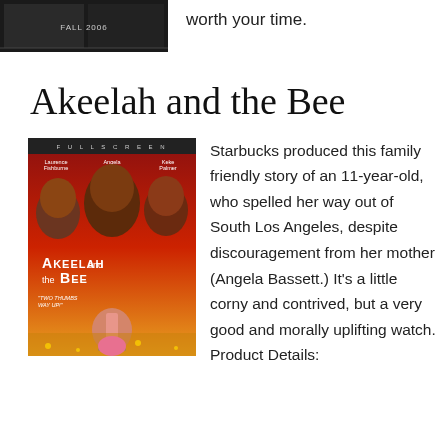[Figure (photo): Movie cover image at top, dark background with text 'FALL 2006']
worth your time.
Akeelah and the Bee
[Figure (photo): DVD cover of Akeelah and the Bee (Full Screen edition) showing Laurence Fishburne, Angela Bassett, Keke Palmer, and a young girl at a microphone. Text on cover: 'FULL SCREEN', 'Laurence Fishburne', 'Angela Bassett', 'Keke Palmer', 'AKEELAH and the BEE', 'TWO THUMBS WAY UP!']
Starbucks produced this family friendly story of an 11-year-old, who spelled her way out of South Los Angeles, despite discouragement from her mother (Angela Bassett.) It's a little corny and contrived, but a very good and morally uplifting watch. Product Details: